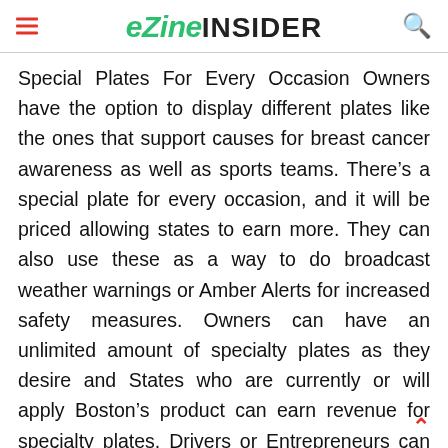eZine INSIDER
Special Plates For Every Occasion Owners have the option to display different plates like the ones that support causes for breast cancer awareness as well as sports teams. There’s a special plate for every occasion, and it will be priced allowing states to earn more. They can also use these as a way to do broadcast weather warnings or Amber Alerts for increased safety measures. Owners can have an unlimited amount of specialty plates as they desire and States who are currently or will apply Boston’s product can earn revenue for specialty plates. Drivers or Entrepreneurs can also put their ads on it